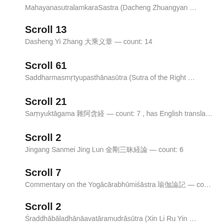MahayanasutralamkaraSastra (Dacheng Zhuangyan …
Scroll 13
Dasheng Yi Zhang 大乘义章 — count: 14
Scroll 61
Saddharmasmṛtyupasthānasūtra (Sutra of the Right …
Scroll 21
Saṃyuktāgama 杂阿含经 — count: 7 , has English transla…
Scroll 2
Jingang Sanmei Jing Lun 金刚三昧经论 — count: 6
Scroll 7
Commentary on the Yogācārabhūmiśāstra 瑜伽论记 — co…
Scroll 2
Śraddhābāladhānāavatāramudrāsūtra (Xin Li Ru Yin …
Scroll 1
Diamond Sūtra 金刚般若波罗蜜经 — count: 6